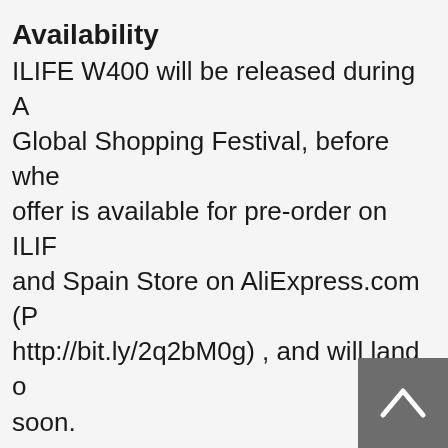Availability
ILIFE W400 will be released during A Global Shopping Festival, before whe offer is available for pre-order on ILIF and Spain Store on AliExpress.com (P http://bit.ly/2q2bM0g) , and will land o soon.
About ILIFE
Founded in 2010 and headquartered China, ILIFE Innovation Ltd is a high-t specializing in robotic cleaning techno successfully penetrated into the glob
[Figure (other): Back-to-top scroll button in dark grey square with white upward chevron arrow]